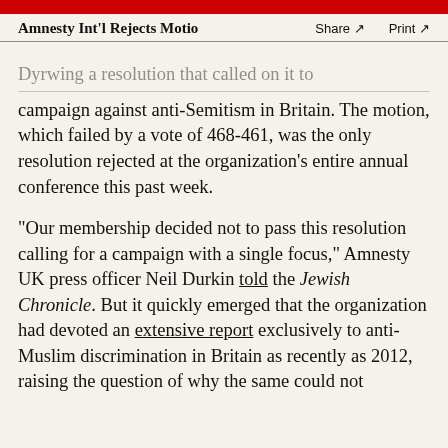Amnesty Int'l Rejects Motio…   Share ↗   Print ↗
…campaign against anti-Semitism in Britain. The motion, which failed by a vote of 468-461, was the only resolution rejected at the organization's entire annual conference this past week.
“Our membership decided not to pass this resolution calling for a campaign with a single focus,” Amnesty UK press officer Neil Durkin told the Jewish Chronicle. But it quickly emerged that the organization had devoted an extensive report exclusively to anti-Muslim discrimination in Britain as recently as 2012, raising the question of why the same could not